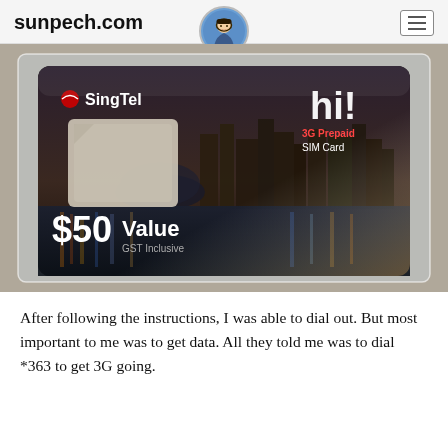sunpech.com
[Figure (photo): A SingTel hi! 3G Prepaid SIM Card with $50 Value GST Inclusive, shown in its plastic packaging on a grey surface. The card features a nighttime Singapore cityscape background.]
After following the instructions, I was able to dial out. But most important to me was to get data. All they told me was to dial *363 to get 3G going.